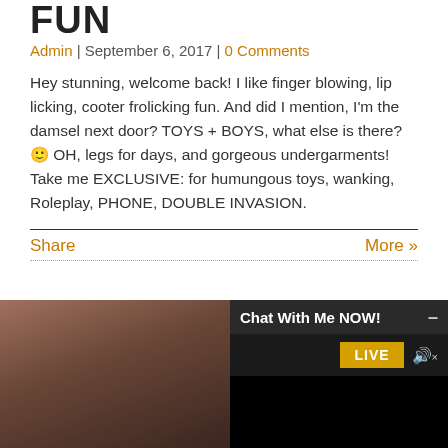FUN
Admin | September 6, 2017 | 0 Comments
Hey stunning, welcome back! I like finger blowing, lip licking, cooter frolicking fun. And did I mention, I'm the damsel next door? TOYS + BOYS, what else is there? 🙂 OH, legs for days, and gorgeous undergarments! Take me EXCLUSIVE: for humungous toys, wanking, Roleplay, PHONE, DOUBLE INVASION.
Share | More »
[Figure (screenshot): Bottom section showing a partial photo on the left and a chat widget on the right with 'Chat With Me NOW!' header, a LIVE badge, and speaker icon.]